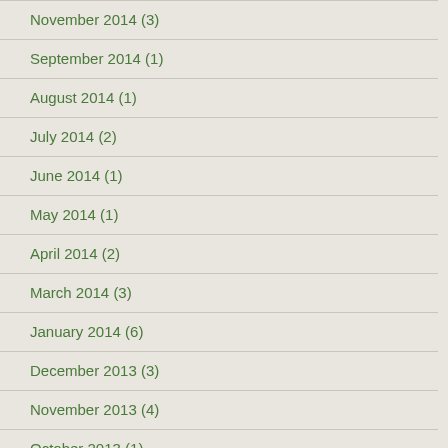November 2014 (3)
September 2014 (1)
August 2014 (1)
July 2014 (2)
June 2014 (1)
May 2014 (1)
April 2014 (2)
March 2014 (3)
January 2014 (6)
December 2013 (3)
November 2013 (4)
October 2013 (1)
September 2013 (3)
August 2013 (1)
July 2013 (6)